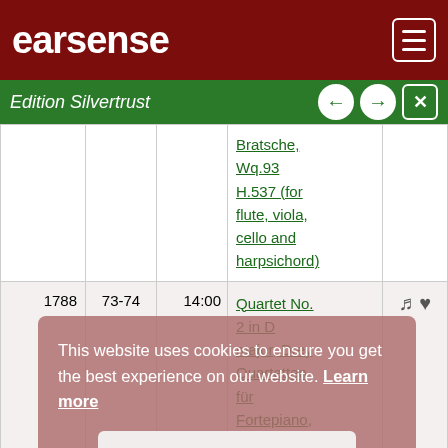earsense
Edition Silvertrust
| Year | Opus | Duration | Title | Actions |
| --- | --- | --- | --- | --- |
|  |  |  | Bratsche, Wq.93 H.537 (for flute, viola, cello and harpsichord) |  |
| 1788 | 73-74 | 14:00 | Quartet No. 2 in D major, Drey Quartetten für Fortepiano, Flöte und Bratsche, Wq.94 H.538 (for |  |
This website uses cookies to ensure you get the best experience on our website. Learn more
Got it!